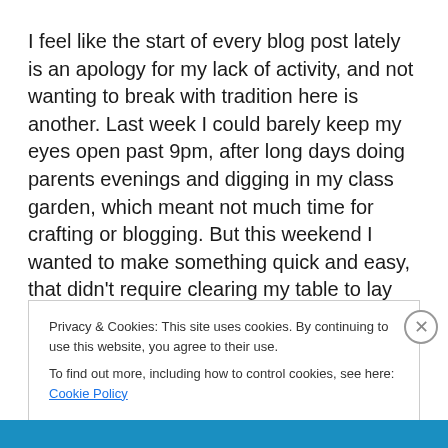I feel like the start of every blog post lately is an apology for my lack of activity, and not wanting to break with tradition here is another. Last week I could barely keep my eyes open past 9pm, after long days doing parents evenings and digging in my class garden, which meant not much time for crafting or blogging. But this weekend I wanted to make something quick and easy, that didn't require clearing my table to lay out metres of fabric.
Privacy & Cookies: This site uses cookies. By continuing to use this website, you agree to their use.
To find out more, including how to control cookies, see here: Cookie Policy
Close and accept